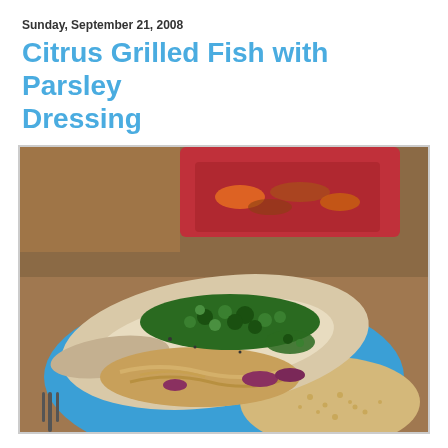Sunday, September 21, 2008
Citrus Grilled Fish with Parsley Dressing
[Figure (photo): A close-up photo of grilled fish topped with green parsley dressing, served on a blue plate over caramelized onions and couscous, with a red plate of vegetables in the background.]
Fish is one of those foods we are trying to eat more of, but it